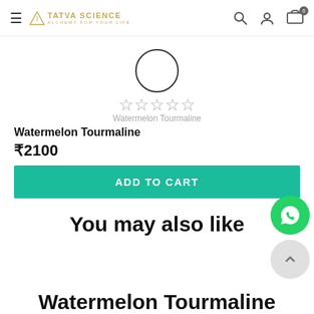TATVA SCIENCE — ALCHEMY FOR YOUR LIFE (navigation header with search, user, and cart icons)
[Figure (illustration): Product image placeholder: a circle outline representing Watermelon Tourmaline product]
[Figure (other): Five empty star rating icons]
Watermelon Tourmaline
Watermelon Tourmaline
₹2100
ADD TO CART
You may also like
[Figure (logo): WhatsApp floating action button (green circle with WhatsApp phone icon)]
[Figure (other): Scroll to top button (light grey circle with up chevron)]
Watermelon Tourmaline